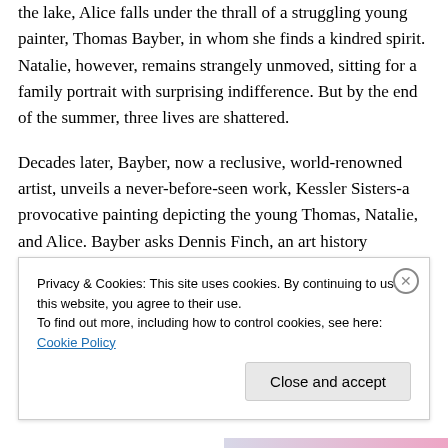the lake, Alice falls under the thrall of a struggling young painter, Thomas Bayber, in whom she finds a kindred spirit. Natalie, however, remains strangely unmoved, sitting for a family portrait with surprising indifference. But by the end of the summer, three lives are shattered.
Decades later, Bayber, now a reclusive, world-renowned artist, unveils a never-before-seen work, Kessler Sisters-a provocative painting depicting the young Thomas, Natalie, and Alice. Bayber asks Dennis Finch, an art history professor, and Stephen Jameson, an eccentric young art authenticator, to sell the painting for him. That took...
Privacy & Cookies: This site uses cookies. By continuing to use this website, you agree to their use.
To find out more, including how to control cookies, see here: Cookie Policy
Close and accept